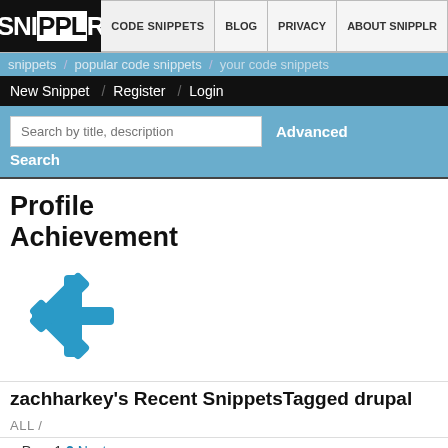SNIPPLR | CODE SNIPPETS | BLOG | PRIVACY | ABOUT SNIPPLR
snippets / popular code snippets / your code snippets
New Snippet / Register / Login
Search by title, description  Advanced  Search
Profile Achievement
[Figure (illustration): Blue snowflake/asterisk icon]
zachharkey's Recent SnippetsTagged drupal
ALL /
« Prev 1 2 Next »